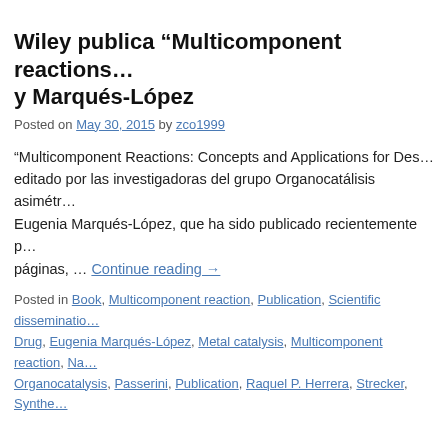Wiley publica “Multicomponent reactions…” y Marqués-López
Posted on May 30, 2015 by zco1999
“Multicomponent Reactions: Concepts and Applications for Des… editado por las investigadoras del grupo Organocatálisis asimétr… Eugenia Marqués-López, que ha sido publicado recientemente p… páginas, … Continue reading →
Posted in Book, Multicomponent reaction, Publication, Scientific dissemination… Drug, Eugenia Marqués-López, Metal catalysis, Multicomponent reaction, Na… Organocatalysis, Passerini, Publication, Raquel P. Herrera, Strecker, Synthe…
“One-pot synthesis of unsymmetrical squ… published in RCS Advances
Posted on April 8, 2015 by mmaamarq
Congratulations Juanvi for the recent publication of the “One-po… squaramides” in RCS Advances, 2015, 5, 33459-33462! DOI:…